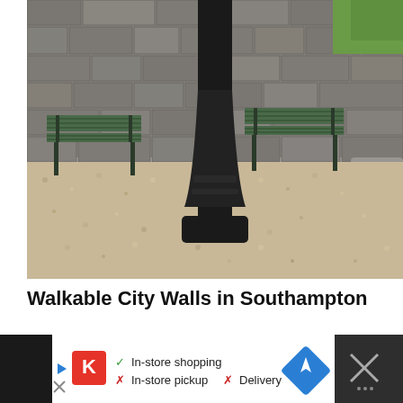[Figure (photo): Outdoor photo of a gravel area with two green park benches against a stone wall, with a black lamp post in the center. Some green lawn visible in the top right corner and large stones on the right.]
Walkable City Walls in Southampton
[Figure (screenshot): Advertisement banner with dark background showing a Kroger-style red K logo, play button, checkmarks and X icons indicating In-store shopping (check), In-store pickup (X), Delivery (X), a blue navigation arrow icon, and an X close button with dots icon on the right.]